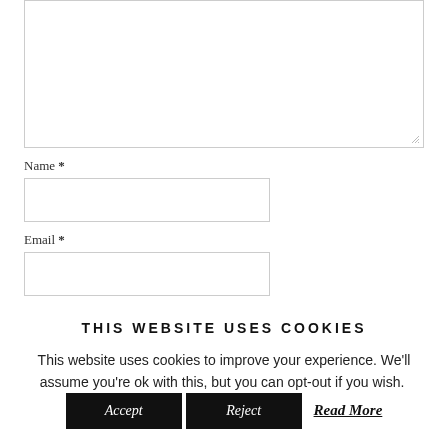Name *
Email *
THIS WEBSITE USES COOKIES
This website uses cookies to improve your experience. We'll assume you're ok with this, but you can opt-out if you wish.
Accept
Reject
Read More